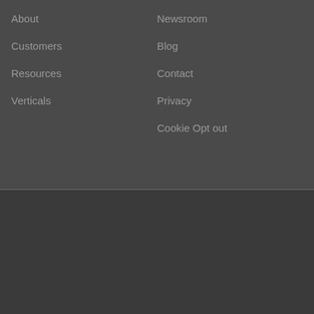About
Customers
Resources
Verticals
Newsroom
Blog
Contact
Privacy
Cookie Opt out
We use cookies on our website to give you the most relevant experience by remembering your preferences and repeat visits. By clicking “Accept”, you consent to the use of ALL the cookies. Read More
Cookie settings
ACCEPT